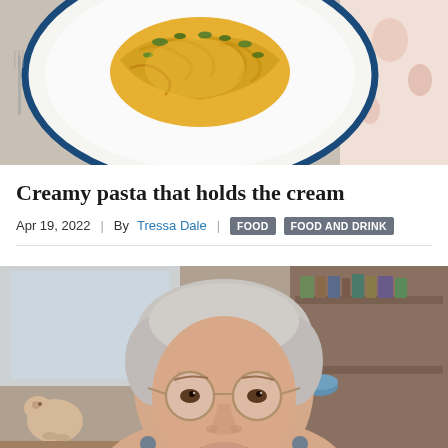[Figure (photo): Top-down view of creamy pasta dish on a white plate with blue rim, garnished with green herbs, on a decorative tablecloth]
Creamy pasta that holds the cream
Apr 19, 2022 | By Tressa Dale | FOOD | FOOD AND DRINK
[Figure (photo): Portrait photo of an older woman with short gray hair, round glasses, smiling, in a kitchen setting with shelves and decorative items visible in the background]